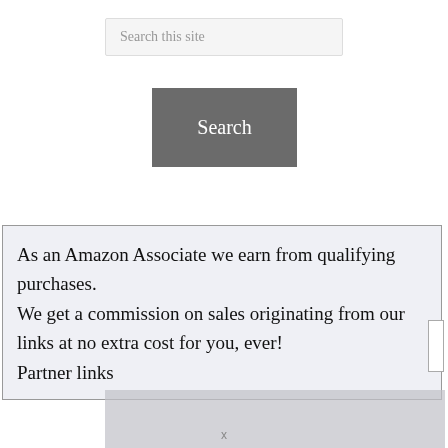Search this site
[Figure (other): Search button — a dark gray rectangular button with white text reading 'Search']
As an Amazon Associate we earn from qualifying purchases.
We get a commission on sales originating from our links at no extra cost for you, ever!
Partner links